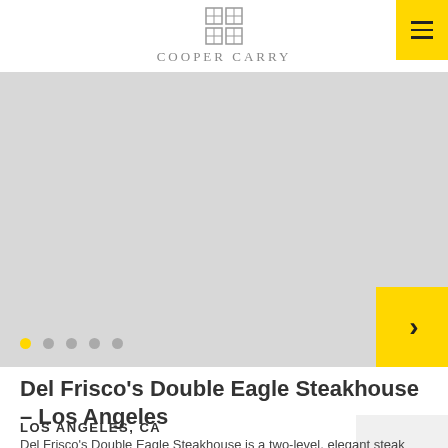Cooper Carry
[Figure (screenshot): Slideshow area with navigation dots and next arrow button on yellow background]
Del Frisco’s Double Eagle Steakhouse – Los Angeles
LOS ANGELES, CA
Del Frisco’s Double Eagle Steakhouse is a two-level, elegant steak